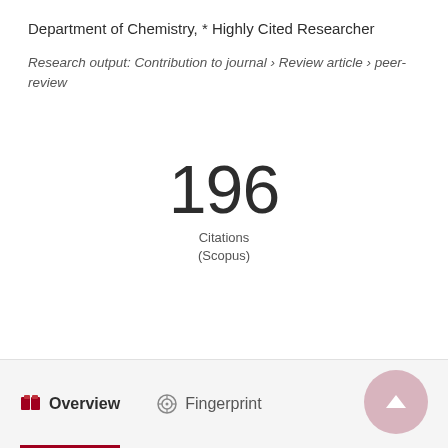Department of Chemistry, * Highly Cited Researcher
Research output: Contribution to journal › Review article › peer-review
196 Citations (Scopus)
Overview   Fingerprint